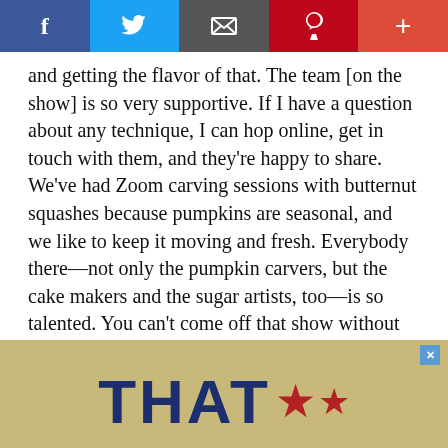Social share bar: Facebook, Twitter, Email, Pinterest, Plus
and getting the flavor of that. The team [on the show] is so very supportive. If I have a question about any technique, I can hop online, get in touch with them, and they're happy to share. We've had Zoom carving sessions with butternut squashes because pumpkins are seasonal, and we like to keep it moving and fresh. Everybody there—not only the pumpkin carvers, but the cake makers and the sugar artists, too—is so talented. You can't come off that show without learning something. The stories they tell with these displays are pretty incredible, too. It's fun to be a part of, and it's fun to watch.
[Figure (advertisement): Advertisement banner showing the word THAT in large dark blue bold letters with red stars, on a aged parchment-style background]